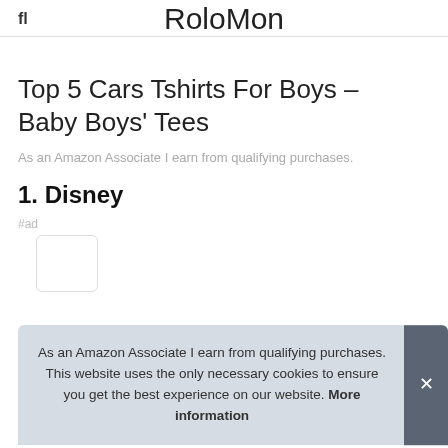RoloMon
Top 5 Cars Tshirts For Boys – Baby Boys' Tees
As an Amazon Associate I earn from qualifying purchases.
1. Disney
#ad
As an Amazon Associate I earn from qualifying purchases. This website uses the only necessary cookies to ensure you get the best experience on our website. More information